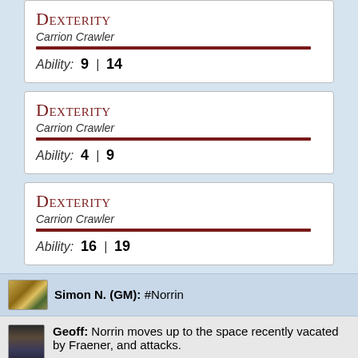Dexterity
Carrion Crawler
Ability: 9 | 14
Dexterity
Carrion Crawler
Ability: 4 | 9
Dexterity
Carrion Crawler
Ability: 16 | 19
Simon N. (GM): #Norrin
Geoff: Norrin moves up to the space recently vacated by Fraener, and attacks.
One on the right
[Figure (other): Dice roll card showing 28 (green) and 21, weapon: +1 Nar Hero Sword (+8), distance: 5', and bottom values 9 | 8]